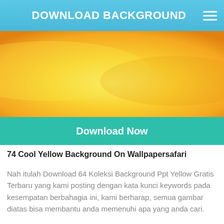DOWNLOAD BACKGROUND
[Figure (illustration): Yellow gradient background image with orange to bright yellow tones]
[Figure (other): Download Now button with teal/green background]
74 Cool Yellow Background On Wallpapersafari
Nah itulah Download 64 Koleksi Background Ppt Yellow Gratis Terbaru yang kami posting dengan kata kunci keywords pada kesempatan berbahagia ini, kami berharap, semua gambar diatas bisa membantu anda memenuhi apa yang anda cari.
Selain gambar diatas kami juga memiliki banyak sekali